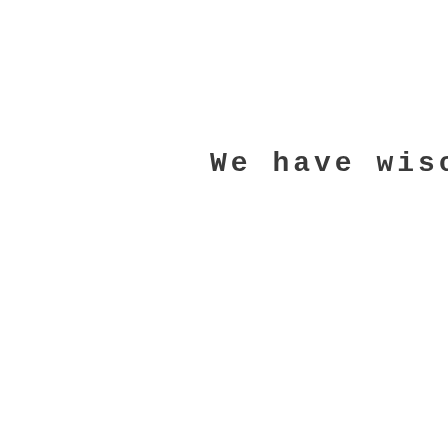We have wise
영신 정밀기계 EiShin > EiShin co,. Ltd > NEWS > Exhibited our product eco-SPRAY a
Recent Posts
Value Prize Certificate 2018 Received!
NEWS  2014年11月26日
BLO  [LINE icon]  Twee